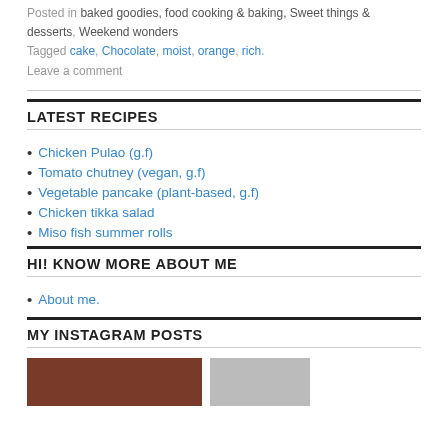Posted in baked goodies, food cooking & baking, Sweet things & desserts, Weekend wonders
Tagged cake, Chocolate, moist, orange, rich.
Leave a comment
LATEST RECIPES
Chicken Pulao (g.f)
Tomato chutney (vegan, g.f)
Vegetable pancake (plant-based, g.f)
Chicken tikka salad
Miso fish summer rolls
HI! KNOW MORE ABOUT ME
About me.
MY INSTAGRAM POSTS
[Figure (photo): Instagram post photos partially visible at bottom of page]